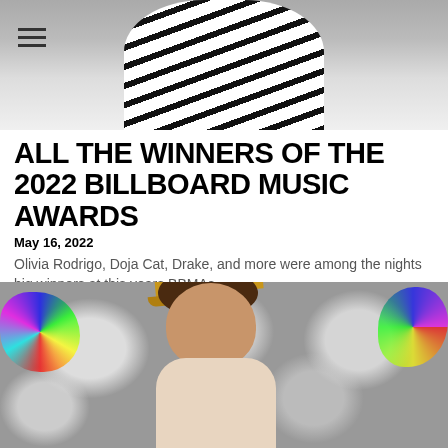[Figure (photo): Black and white photo of a person wearing a zebra-print top, cropped to show torso and shoulders. Hamburger menu icon visible in top-left corner.]
ALL THE WINNERS OF THE 2022 BILLBOARD MUSIC AWARDS
May 16, 2022
Olivia Rodrigo, Doja Cat, Drake, and more were among the nights big winners at this years BBMAs
[Figure (photo): Color photo of a person wearing a yellow cap and sunglasses, surrounded by French bulldogs. Colorful abstract splashes visible on left and right sides.]